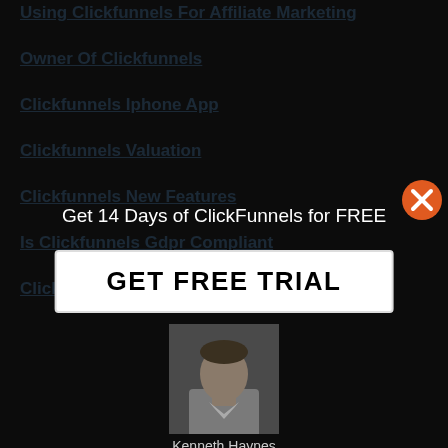Using Clickfunnels For Affiliate Marketing
Owner Of Clickfunnels
Clickfunnels Iphone App
Clickfunnels Valuation
Clickfunnels New Features
Is Clickfunnels Gdpr Compliant
Clickfunnels Free Book
Get 14 Days of ClickFunnels for FREE
GET FREE TRIAL
[Figure (photo): Headshot photo of a man in a light-colored shirt, dark background]
Kenneth Haynes